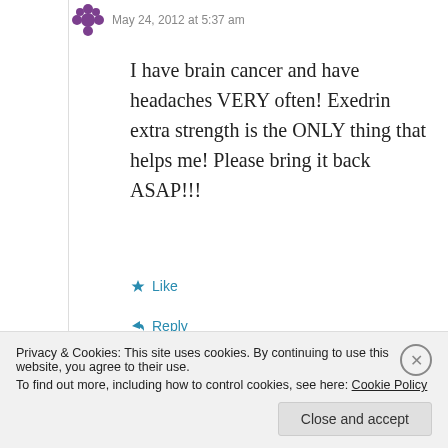[Figure (illustration): Purple flower/avatar icon with decorative petals]
May 24, 2012 at 5:37 am
I have brain cancer and have headaches VERY often! Exedrin extra strength is the ONLY thing that helps me! Please bring it back ASAP!!!
★ Like
↪ Reply
Privacy & Cookies: This site uses cookies. By continuing to use this website, you agree to their use.
To find out more, including how to control cookies, see here: Cookie Policy
Close and accept